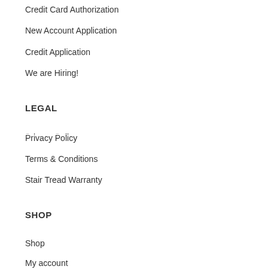Credit Card Authorization
New Account Application
Credit Application
We are Hiring!
LEGAL
Privacy Policy
Terms & Conditions
Stair Tread Warranty
SHOP
Shop
My account